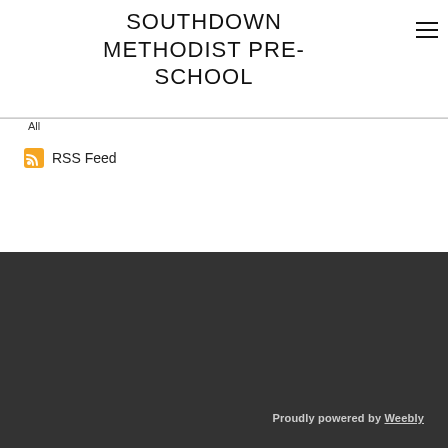SOUTHDOWN METHODIST PRE-SCHOOL
All
RSS Feed
Proudly powered by Weebly